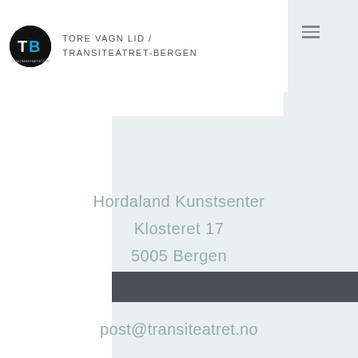TORE VAGN LID / TRANSITEATRET-BERGEN
[Figure (logo): Circular black logo with TB letters where B is highlighted in blue, and small website URL beneath]
Hordaland Kunstsenter
Klosteret 17
5005 Bergen
Norway

post@transiteatret.no